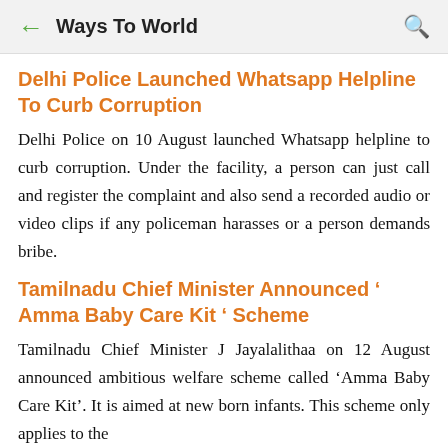Ways To World
Delhi Police Launched Whatsapp Helpline To Curb Corruption
Delhi Police on 10 August launched Whatsapp helpline to curb corruption. Under the facility, a person can just call and register the complaint and also send a recorded audio or video clips if any policeman harasses or a person demands bribe.
Tamilnadu Chief Minister Announced ' Amma Baby Care Kit ' Scheme
Tamilnadu Chief Minister J Jayalalithaa on 12 August announced ambitious welfare scheme called 'Amma Baby Care Kit'. It is aimed at new born infants. This scheme only applies to the